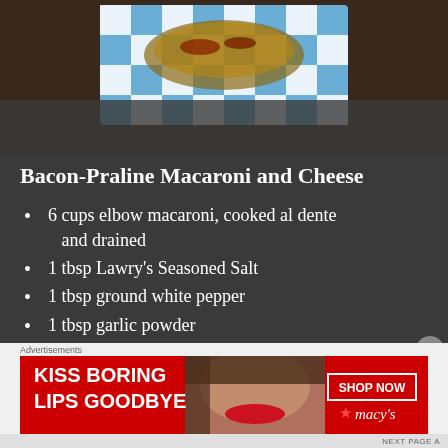[Figure (photo): Photo of food dish (Bacon-Praline Macaroni and Cheese) served in a blue and white checkered paper container against a dark background]
Bacon-Praline Macaroni and Cheese
6 cups elbow macaroni, cooked al dente and drained
1 tbsp Lawry’s Seasoned Salt
1 tbsp ground white pepper
1 tbsp garlic powder
1 tbsp onion powder
(partial, cut off)
[Figure (other): Macy’s advertisement banner: KISS BORING LIPS GOODBYE with a woman's face and SHOP NOW button and Macy’s star logo]